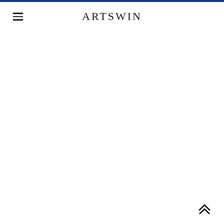ARTSWIN
[Figure (other): Scroll to top double chevron arrow icon in dark color, bottom right corner]